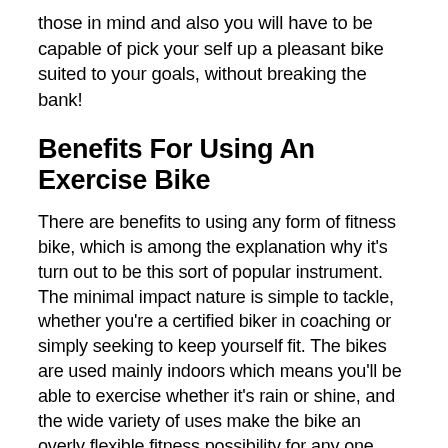those in mind and also you will have to be capable of pick your self up a pleasant bike suited to your goals, without breaking the bank!
Benefits For Using An Exercise Bike
There are benefits to using any form of fitness bike, which is among the explanation why it's turn out to be this sort of popular instrument. The minimal impact nature is simple to tackle, whether you're a certified biker in coaching or simply seeking to keep yourself fit. The bikes are used mainly indoors which means you'll be able to exercise whether it's rain or shine, and the wide variety of uses make the bike an overly flexible fitness possibility for any one wanting to live a more fit lifestyle.
In Closing